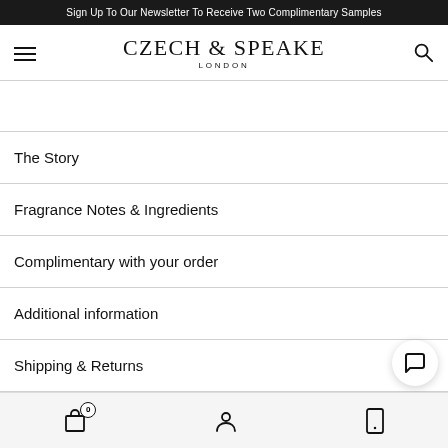Sign Up To Our Newsletter To Receive Two Complimentary Samples
CZECH & SPEAKE LONDON
The Story
Fragrance Notes & Ingredients
Complimentary with your order
Additional information
Shipping & Returns